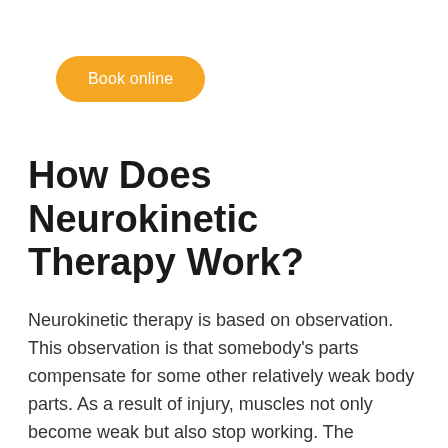[Figure (other): Orange pill-shaped button with white text reading 'Book online']
How Does Neurokinetic Therapy Work?
Neurokinetic therapy is based on observation. This observation is that somebody's parts compensate for some other relatively weak body parts. As a result of injury, muscles not only become weak but also stop working. The remaining muscles have to perform extra shifts. This forced overwork makes up for the shortcomings. This concept is termed muscle compensation patterns. These patterns not